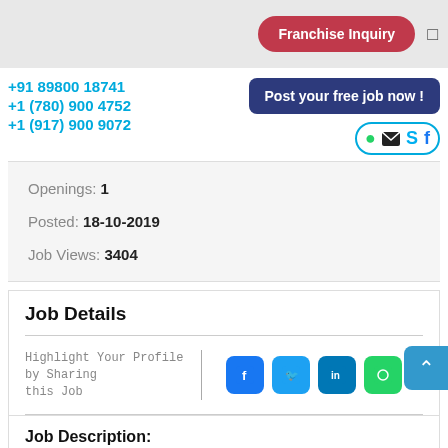[Figure (other): Franchise Inquiry button (red/pink rounded pill) and menu icon on gray top bar]
+91 89800 18741
+1 (780) 900 4752
+1 (917) 900 9072
[Figure (other): Post your free job now! button (dark blue) and social icons row (WhatsApp, mail, Skype, Facebook) in a rounded border]
Openings: 1
Posted: 18-10-2019
Job Views: 3404
Job Details
Highlight Your Profile by Sharing this Job
[Figure (other): Social share icons: Facebook (blue), Twitter (light blue), LinkedIn (blue), WhatsApp (green)]
Job Description:
Current details